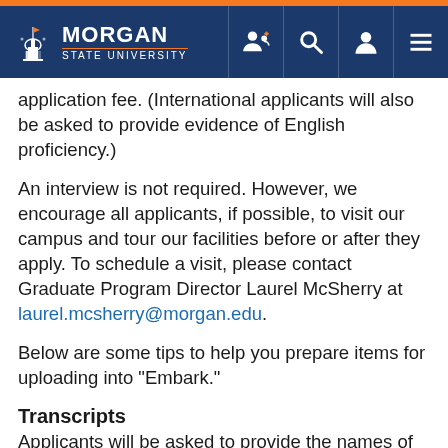Morgan State University
application fee. (International applicants will also be asked to provide evidence of English proficiency.)
An interview is not required. However, we encourage all applicants, if possible, to visit our campus and tour our facilities before or after they apply. To schedule a visit, please contact Graduate Program Director Laurel McSherry at laurel.mcsherry@morgan.edu.
Below are some tips to help you prepare items for uploading into "Embark."
Transcripts
Applicants will be asked to provide the names of all previous academic institutions they attended, and arrange to have official copies of transcripts from these institutions sent directly to Morgan State